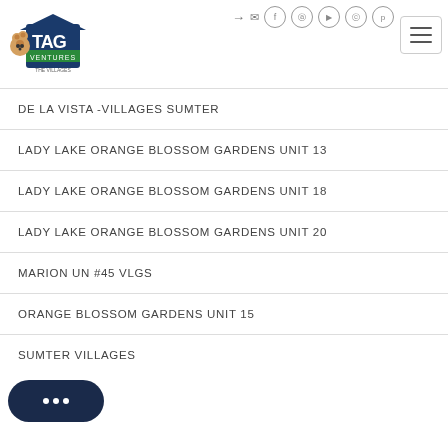[Figure (logo): TAG Ventures logo with bear and building]
DE LA VISTA -VILLAGES SUMTER
LADY LAKE ORANGE BLOSSOM GARDENS UNIT 13
LADY LAKE ORANGE BLOSSOM GARDENS UNIT 18
LADY LAKE ORANGE BLOSSOM GARDENS UNIT 20
MARION UN #45 VLGS
ORANGE BLOSSOM GARDENS UNIT 15
SUMTER VILLAGES